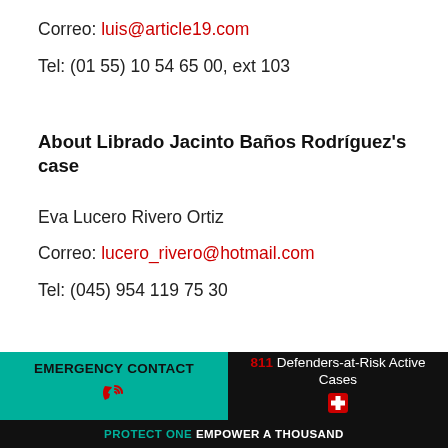Correo: luis@article19.com
Tel: (01 55) 10 54 65 00, ext 103
About Librado Jacinto Baños Rodríguez's case
Eva Lucero Rivero Ortiz
Correo: lucero_rivero@hotmail.com
Tel: (045) 954 119 75 30
EMERGENCY CONTACT | 811 Defenders-at-Risk Active Cases | PROTECT ONE EMPOWER A THOUSAND